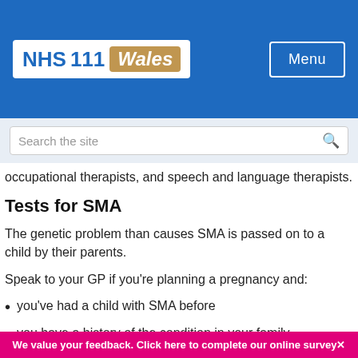NHS 111 Wales — Menu
occupational therapists, and speech and language therapists.
Tests for SMA
The genetic problem than causes SMA is passed on to a child by their parents.
Speak to your GP if you're planning a pregnancy and:
you've had a child with SMA before
you have a history of the condition in your family
We value your feedback. Click here to complete our online survey✕